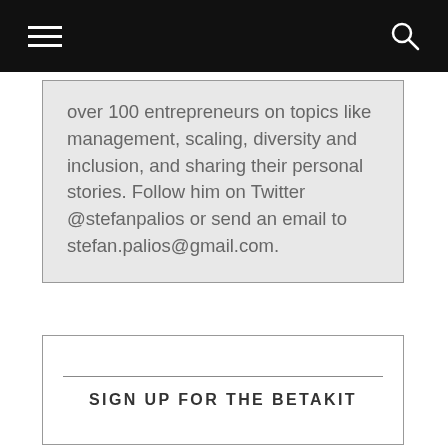over 100 entrepreneurs on topics like management, scaling, diversity and inclusion, and sharing their personal stories. Follow him on Twitter @stefanpalios or send an email to stefan.palios@gmail.com.
SIGN UP FOR THE BETAKIT